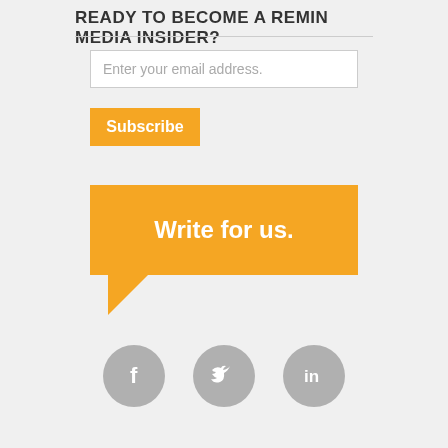READY TO BECOME A REMIN MEDIA INSIDER?
Enter your email address.
Subscribe
[Figure (illustration): Orange speech bubble shape with text 'Write for us.' inside]
[Figure (infographic): Three circular social media icons: Facebook (f), Twitter (bird), LinkedIn (in), all in gray]